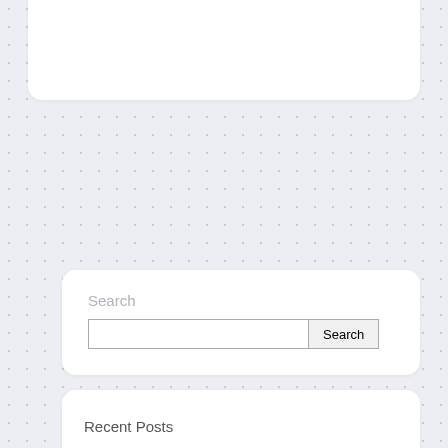[Figure (screenshot): Partial white card widget cropped at top of page]
Search
[Figure (screenshot): Search widget card with a text input field and a Search button]
Recent Posts
A complete guide for you to build a business website step by step
Top 10 Best Companies For Making Website With